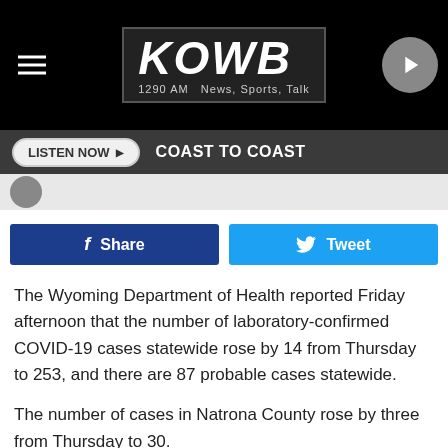[Figure (logo): KOWB 1290 AM News, Sports, Talk radio station logo on black background with hamburger menu and play button]
[Figure (infographic): Dark gray navigation bar with LISTEN NOW button and COAST TO COAST text]
[Figure (infographic): Social sharing buttons: Facebook Share and Tweet]
The Wyoming Department of Health reported Friday afternoon that the number of laboratory-confirmed COVID-19 cases statewide rose by 14 from Thursday to 253, and there are 87 probable cases statewide.
The number of cases in Natrona County rose by three from Thursday to 30.
Nineteen of the state's 23 counties have reported cases.